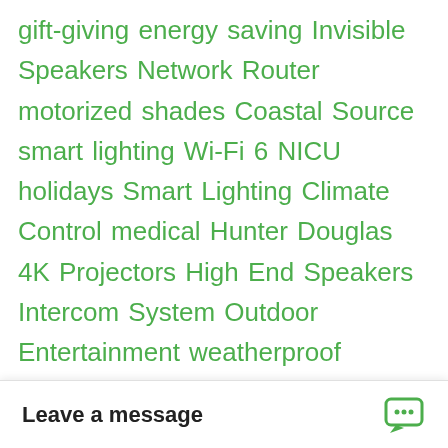gift-giving energy saving Invisible Speakers Network Router motorized shades Coastal Source smart lighting Wi-Fi 6 NICU holidays Smart Lighting Climate Control medical Hunter Douglas 4K Projectors High End Speakers Intercom System Outdoor Entertainment weatherproof equipment Backup Power Outdoor Sound System Cybersecurity collecting lighting Cyber Security home automation add wiring smart homes pandora high-performance audio Home Theater Design disguised components managed wi-fi systems vacation wi-fi Access Points Uninterrupted Power Source C4 Yourself media distribution tv Neeo Remonte Halloween Display apps online movies architects Smart Lighting System amazing artist Smart Doorbell Home Automation System Control4 System Installation CES architect smart lock programmable thermostat Rick Reilly article Control4 Smart Dolby Atmos Network Maintenance gaming pre amplifier Energy Efficiency Conference Room iPad compatible iPad Ultra Violet multi-zone audio real estate Sound System Network T...
Leave a message